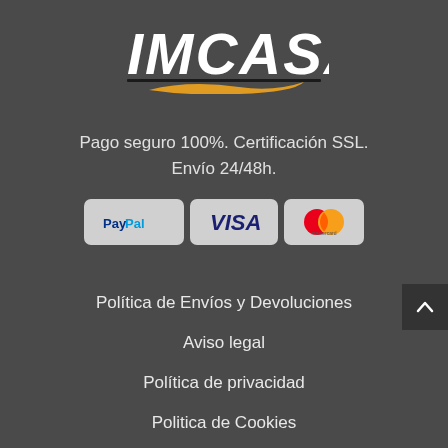[Figure (logo): IMCASA logo: bold italic white text 'IMCASA' with a horizontal black underline and a gold/yellow brush-stroke swoosh beneath]
Pago seguro 100%. Certificación SSL.
Envío 24/48h.
[Figure (infographic): Payment method icons: PayPal, VISA, Mastercard displayed as grey rounded-rectangle badges]
Política de Envíos y Devoluciones
Aviso legal
Política de privacidad
Politica de Cookies